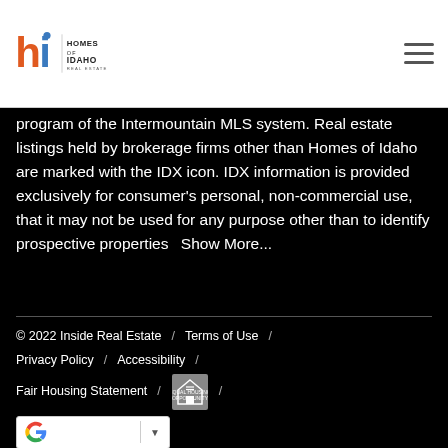Homes of Idaho Real Estate
program of the Intermountain MLS system. Real estate listings held by brokerage firms other than Homes of Idaho are marked with the IDX icon. IDX information is provided exclusively for consumer's personal, non-commercial use, that it may not be used for any purpose other than to identify prospective properties    Show More...
© 2022 Inside Real Estate  /  Terms of Use  /  Privacy Policy  /  Accessibility  /  Fair Housing Statement  /  [EHO icon]  /  [Google dropdown]